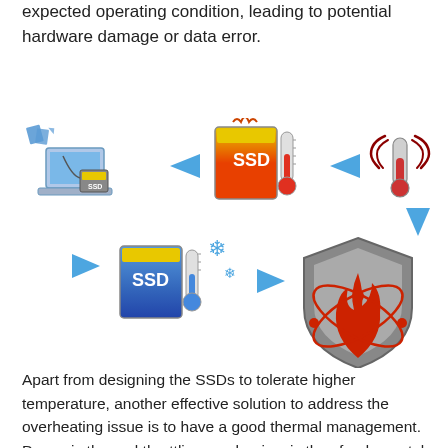expected operating condition, leading to potential hardware damage or data error.
[Figure (infographic): Circular flow diagram showing SSD thermal throttling cycle: laptop transferring data to SSD, hot SSD with thermometer, wireless temperature sensor icon, then thermal throttling (fire/shield icon) cools the SSD back down, indicated by arrows forming a loop.]
Apart from designing the SSDs to tolerate higher temperature, another effective solution to address the overheating issue is to have a good thermal management. Dynamic thermal throttling mechanism is thus fundamental for SSDs. A thermal sensor is implemented in the drive to monitor the temperature via S.M.A.R.T. command. Once the temperature exceeds the threshold, thermal throttling mechanism is